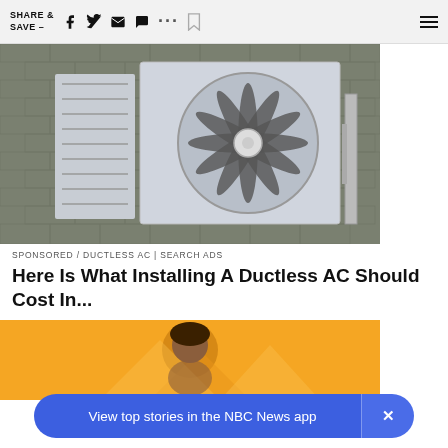SHARE & SAVE —
[Figure (photo): Outdoor ductless AC unit mounted on a brick wall, showing a large circular fan/compressor unit in a white metal casing]
SPONSORED / DUCTLESS AC | SEARCH ADS
Here Is What Installing A Ductless AC Should Cost In...
[Figure (photo): Orange/yellow background with a person visible, partial advertisement image]
View top stories in the NBC News app